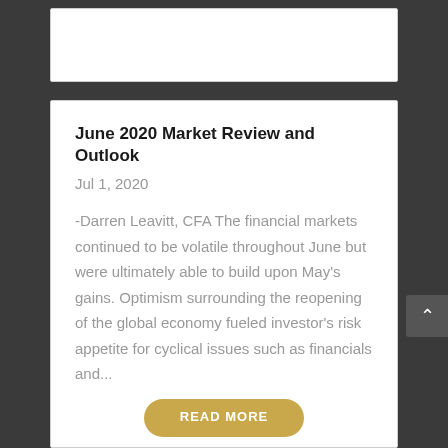June 2020 Market Review and Outlook
Jul 1, 2020
-Darren Leavitt, CFA The financial markets continued to be volatile throughout June but were ultimately able to build upon May's gains. Optimism surrounding the reopening of the global economy fueled investor's risk appetite for cyclical issues such as financials and...
READ MORE